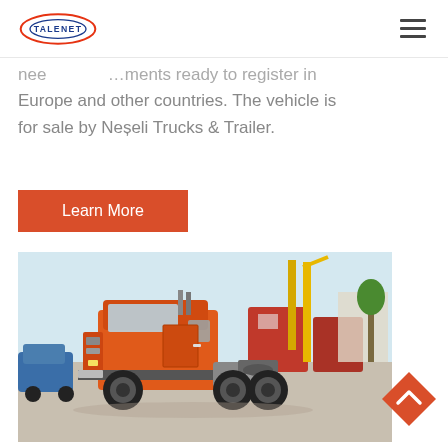TALENET [logo] [hamburger menu]
need ...ments ready to register in Europe and other countries. The vehicle is for sale by Neșeli Trucks & Trailer.
Learn More
[Figure (photo): Orange semi truck / tractor unit photographed in a truck yard with yellow crane equipment in background, other red trucks visible.]